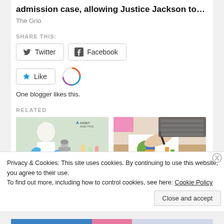admission case, allowing Justice Jackson to…
The Grio
SHARE THIS:
Twitter   Facebook
Like
One blogger likes this.
RELATED
[Figure (photo): Scientists working in a laboratory with microscopes and blue gloves]
Latest New report
[Figure (photo): Person reviewing charts and graphs on paper with a pen, keyboard in background]
Excellent Growth of
Privacy & Cookies: This site uses cookies. By continuing to use this website, you agree to their use.
To find out more, including how to control cookies, see here: Cookie Policy
Close and accept